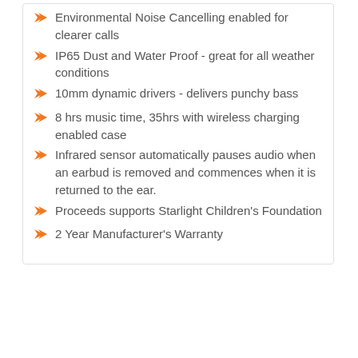Environmental Noise Cancelling enabled for clearer calls
IP65 Dust and Water Proof - great for all weather conditions
10mm dynamic drivers - delivers punchy bass
8 hrs music time, 35hrs with wireless charging enabled case
Infrared sensor automatically pauses audio when an earbud is removed and commences when it is returned to the ear.
Proceeds supports Starlight Children's Foundation
2 Year Manufacturer's Warranty